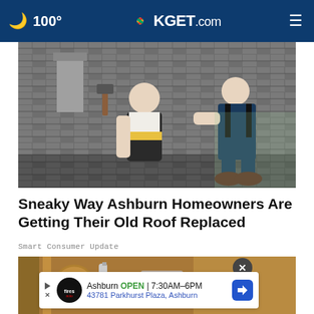100° KGET.com
[Figure (photo): Two workers installing or replacing gray shingle roofing on a residential roof, one holding a hammer.]
Sneaky Way Ashburn Homeowners Are Getting Their Old Roof Replaced
Smart Consumer Update
[Figure (photo): Partial view of a bronze/gold colored door handle or fixture.]
Ashburn OPEN | 7:30AM–6PM 43781 Parkhurst Plaza, Ashburn